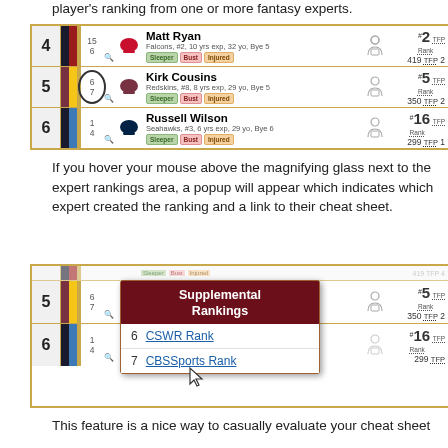player's ranking from one or more fantasy experts.
[Figure (screenshot): Fantasy football draft tool showing player rows for Matt Ryan (#4), Kirk Cousins (#5, circled), and Russell Wilson (#6) with rankings, team info, TFP scores, and Sleeper/Bust/Injured badges]
If you hover your mouse above the magnifying glass next to the expert rankings area, a popup will appear which indicates which expert created the ranking and a link to their cheat sheet.
[Figure (screenshot): Fantasy football draft tool showing rows for Kirk Cousins (#5) and Russell Wilson (#6) with a 'Supplemental Rankings' popup showing '6 CSWR Rank' and '7 CBSSports Rank' links, and a cursor icon]
This feature is a nice way to casually evaluate your cheat sheet